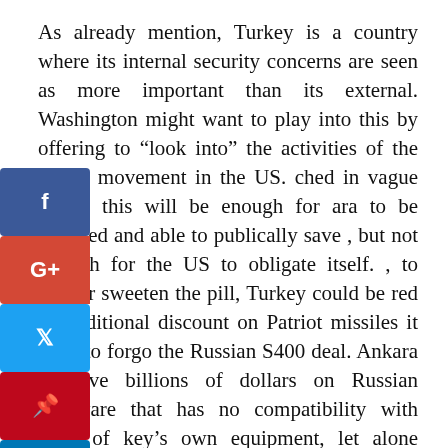As already mention, Turkey is a country where its internal security concerns are seen as more important than its external. Washington might want to play into this by offering to “look into” the activities of the Gulen movement in the US. [...]ched in vague terms, this will be enough for [...] Ankara to be placated and able to publically save [...] but not enough for the US to obligate itself. [...] to further sweeten the pill, Turkey could be [...] red an additional discount on Patriot missiles if it were to forgo the Russian S400 deal. Ankara [...] ld save billions of dollars on Russian hardware that has no compatibility with most of Turkey’s own equipment, let alone NATO’s.
[Figure (infographic): Social media share buttons (Facebook, Google+, Twitter, Pinterest, LinkedIn) overlaying the left side of the text]
Underlying all this is a message that Ankara needs to receive from Washington — it is in